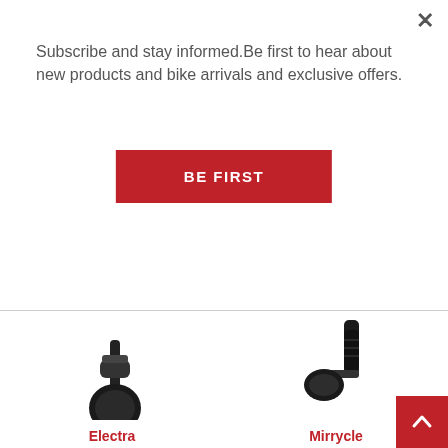Subscribe and stay informed.Be first to hear about new products and bike arrivals and exclusive offers.
BE FIRST
[Figure (photo): Electra Swirl Cruiser Handlebar Mirror product photo - black handlebar mirror on white background]
Electra
Swirl Cruiser Handlebar Mirror
$26.99
[Figure (photo): Mirrycle Mirrycle Mirror product photo - black handlebar mirror on white background]
Mirrycle
Mirrycle Mirror
$28.99
13 Reviews